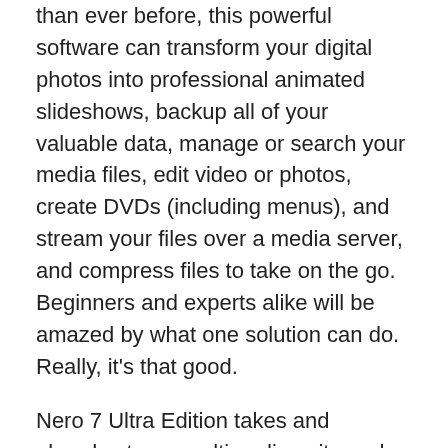than ever before, this powerful software can transform your digital photos into professional animated slideshows, backup all of your valuable data, manage or search your media files, edit video or photos, create DVDs (including menus), and stream your files over a media server, and compress files to take on the go. Beginners and experts alike will be amazed by what one solution can do. Really, it's that good.
Nero 7 Ultra Edition takes and already-strong multimedia suite and enhances its core functionality, making it the best choice for users who need more advanced audio and disc-mastering features.
The good
It's still fast, it's still easy and it's even better. When it